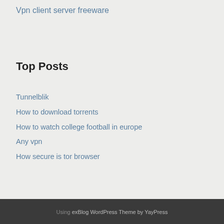Vpn client server freeware
Top Posts
Tunnelblik
How to download torrents
How to watch college football in europe
Any vpn
How secure is tor browser
Using exBlog WordPress Theme by YayPress